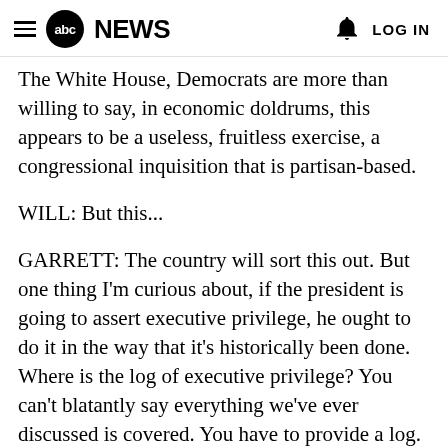abc NEWS  LOG IN
The White House, Democrats are more than willing to say, in economic doldrums, this appears to be a useless, fruitless exercise, a congressional inquisition that is partisan-based.
WILL: But this...
GARRETT: The country will sort this out. But one thing I'm curious about, if the president is going to assert executive privilege, he ought to do it in the way that it's historically been done. Where is the log of executive privilege? You can't blatantly say everything we've ever discussed is covered. You have to provide a log.